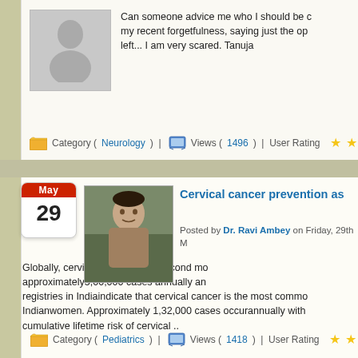Can someone advice me who I should be consulting for my recent forgetfulness, saying just the op... left... I am very scared. Tanuja
Category (Neurology) | Views (1496) | User Rating ★★
Cervical cancer prevention as
Posted by Dr. Ravi Ambey on Friday, 29th M
Globally, cervical cancer is the second most approximately5,00,000 cases annually and registries in Indiaindicate that cervical cancer is the most common Indianwomen. Approximately 1,32,000 cases occurannually with cumulative lifetime risk of cervical ..
Category (Pediatrics) | Views (1418) | User Rating ★★★